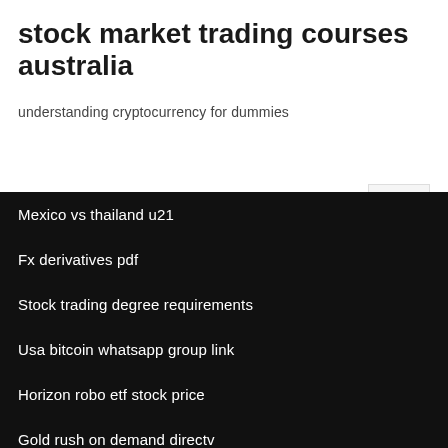stock market trading courses australia
understanding cryptocurrency for dummies
Mexico vs thailand u21
Fx derivatives pdf
Stock trading degree requirements
Usa bitcoin whatsapp group link
Horizon robo etf stock price
Gold rush on demand directv
Adi share price jse
Arista networks stock price history
How much publix stock can i buy